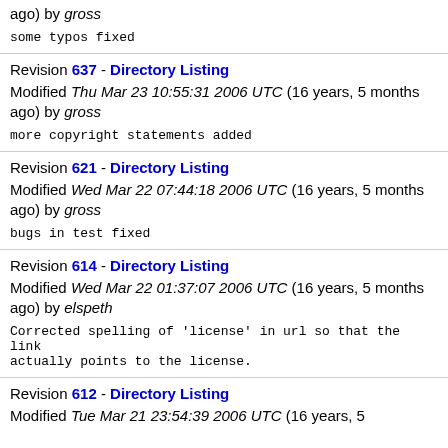ago) by gross
some typos fixed
Revision 637 - Directory Listing
Modified Thu Mar 23 10:55:31 2006 UTC (16 years, 5 months ago) by gross
more copyright statements added
Revision 621 - Directory Listing
Modified Wed Mar 22 07:44:18 2006 UTC (16 years, 5 months ago) by gross
bugs in test fixed
Revision 614 - Directory Listing
Modified Wed Mar 22 01:37:07 2006 UTC (16 years, 5 months ago) by elspeth
Corrected spelling of 'license' in url so that the link actually points to the license.
Revision 612 - Directory Listing
Modified Tue Mar 21 23:54:39 2006 UTC (16 years, 5